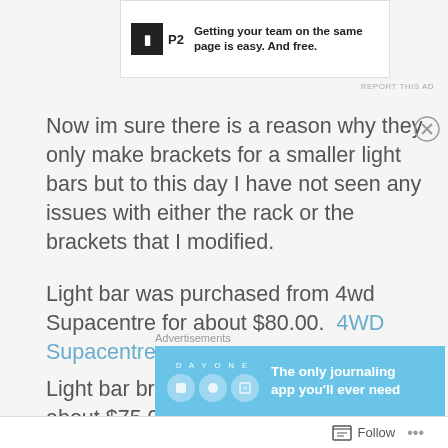[Figure (other): P2 advertisement banner: logo with letter H and P2 text, headline 'Getting your team on the same page is easy. And free.']
REPORT THIS AD
Now im sure there is a reason why they only make brackets for a smaller light bars but to this day I have not seen any issues with either the rack or the brackets that I modified.
Light bar was purchased from 4wd Supacentre for about $80.00.  4WD Supacentre
Light bar brackets from roof rack city for about $75.00  Light Brackets | Rhino-Rack
Advertisements
[Figure (other): Day One journaling app advertisement with blue background, app icons, and text 'The only journaling app you'll ever need']
Follow ...